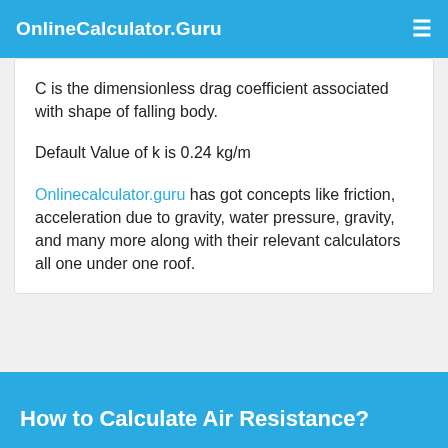OnlineCalculator.Guru
C is the dimensionless drag coefficient associated with shape of falling body.
Default Value of k is 0.24 kg/m
Onlinecalculator.guru has got concepts like friction, acceleration due to gravity, water pressure, gravity, and many more along with their relevant calculators all one under one roof.
How to Calculate Air Resistance?